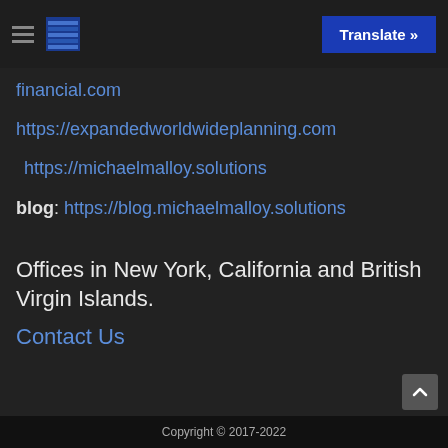Translate »
financial.com
https://expandedworldwideplanning.com
https://michaelmalloy.solutions
blog: https://blog.michaelmalloy.solutions
Offices in New York, California and British Virgin Islands.
Contact Us
Copyright © 2017-2022